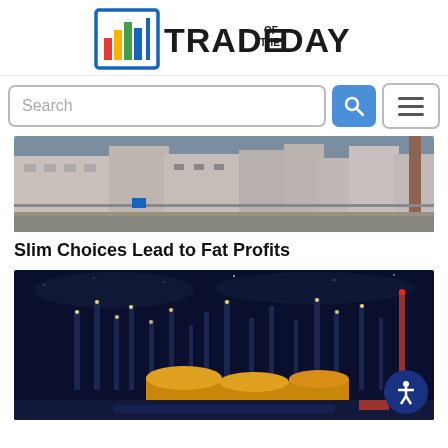[Figure (logo): Trade of the Day logo with bar chart icon and bold text]
[Figure (screenshot): Search bar with text input field, blue search button with magnifying glass icon, and hamburger menu button]
[Figure (photo): Daytime photo of an industrial facility with warehouses and a smokestack behind a chain-link fence]
Slim Choices Lead to Fat Profits
[Figure (photo): Aerial night photo of an oil refinery with illuminated cylindrical storage tanks and distillation columns]